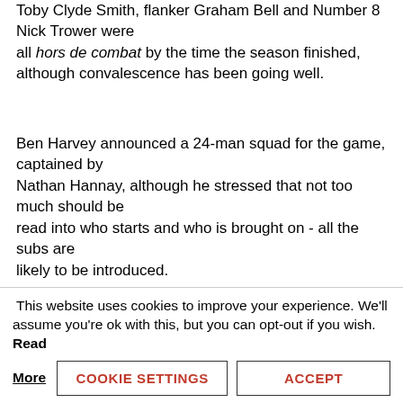Toby Clyde Smith, flanker Graham Bell and Number 8 Nick Trower were all hors de combat by the time the season finished, although convalescence has been going well.
Ben Harvey announced a 24-man squad for the game, captained by Nathan Hannay, although he stressed that not too much should be read into who starts and who is brought on - all the subs are likely to be introduced.
In the mix for the Jersey pack are new signings Richard Barrington and Sean McCarthy (both props), hooker Steve Boden, and second rows Dave Markham and Rob Anderson. New Number 8 Fred
This website uses cookies to improve your experience. We'll assume you're ok with this, but you can opt-out if you wish. Read More